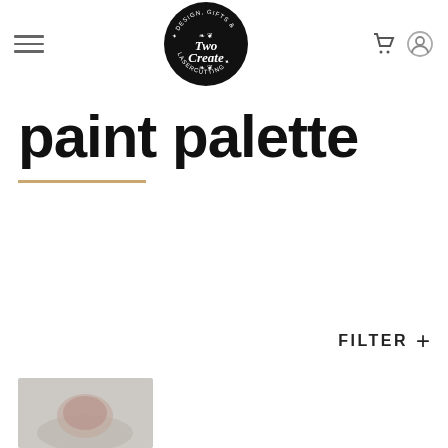Two Create — Design, Gifts & Lasercutting (logo)
paint palette
FILTER +
[Figure (photo): Partial product thumbnail at bottom left, showing a paint palette item on a light grey background]